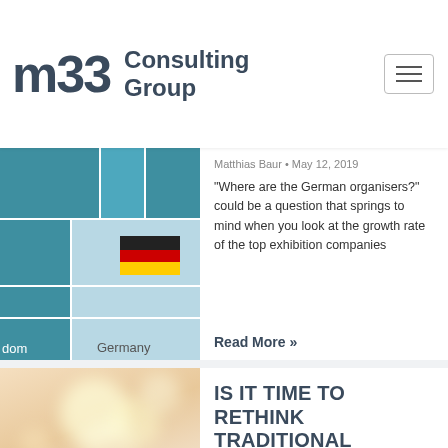[Figure (logo): M33 Consulting Group logo with hamburger menu icon]
[Figure (infographic): Treemap chart showing Germany 66% with German flag, teal squares]
Matthias Baur • May 12, 2019
“Where are the German organisers?” could be a question that springs to mind when you look at the growth rate of the top exhibition companies
Read More »
[Figure (photo): Blurred photo of event attendees with bokeh lighting]
IS IT TIME TO RETHINK TRADITIONAL EVENT KPI’s?
Matthias Baur • January 15,